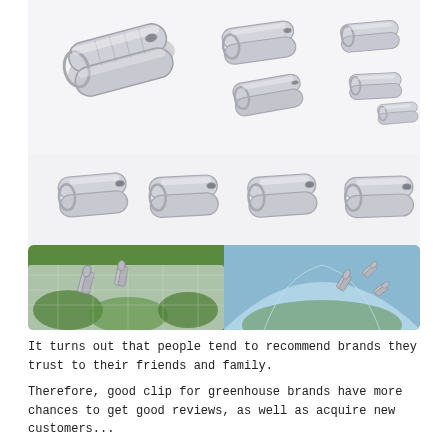[Figure (photo): Product image showing multiple stainless steel spring clips/clamps of various sizes arranged on white background (top two rows), plus two real-use photos showing the clips holding greenhouse film/netting over plants (bottom row, left: clips on white mesh over green lettuce, right: clips on clear plastic dome greenhouse)]
It turns out that people tend to recommend brands they trust to their friends and family.
Therefore, good clip for greenhouse brands have more chances to get good reviews, as well as acquire new customers...